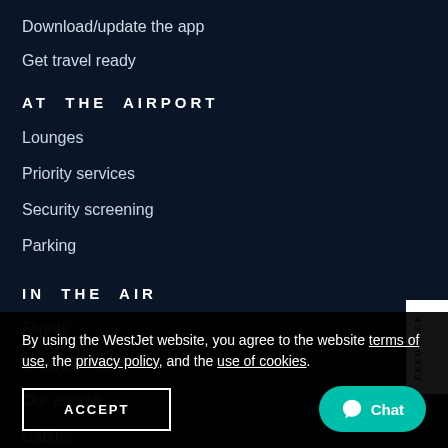Download/update the app
Get travel ready
AT THE AIRPORT
Lounges
Priority services
Security screening
Parking
IN THE AIR
Flights
Entertainment
Our aircraft
Cabins
By using the WestJet website, you agree to the website terms of use, the privacy policy, and the use of cookies.
ACCEPT
Chat